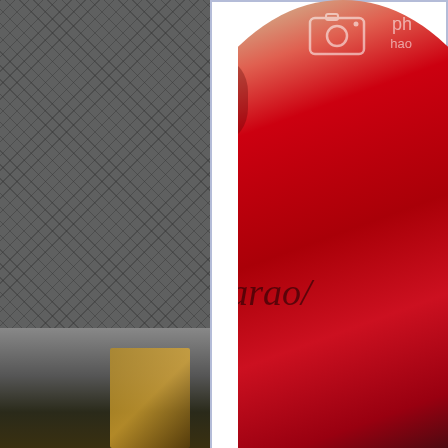[Figure (screenshot): Screenshot of a forum or blog post page. Left side shows a dark grey textured sidebar. Main content area has a white panel with a blue border showing a partially visible photo of a person wearing a red corset/bustier garment with black trim. A circular watermark with cursive text 'LaraofSquad6' overlays the image. A small camera icon with 'ph' text is visible in the top right corner of the image area.]
Posted by: LaraofSquad6 Sat Jan 17, 2009 @ 04:01am